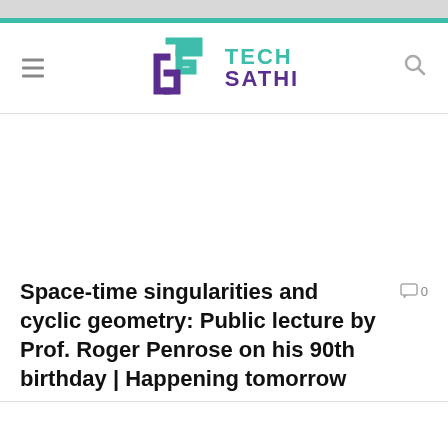[Figure (logo): Tech Sathi logo with teal and purple colors, hamburger menu icon on left, search icon on right]
Space-time singularities and cyclic geometry: Public lecture by Prof. Roger Penrose on his 90th birthday | Happening tomorrow